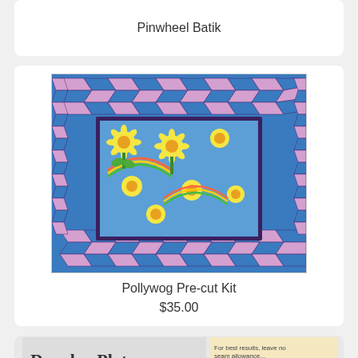Pinwheel Batik
[Figure (photo): Quilt with blue and pink herringbone/chevron border pattern surrounding a center panel with sunflowers and rainbows on blue background fabric — Pollywog Pre-cut Kit]
Pollywog Pre-cut Kit
$35.00
[Figure (photo): Partial view of Dresden Plate quilt pattern book/product at bottom of page]